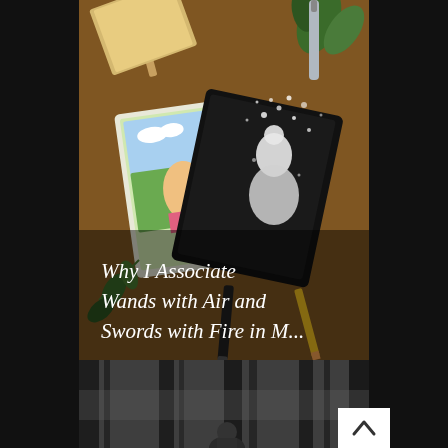[Figure (photo): Top image showing tarot cards spread on an orange/brown wooden surface with art supplies (brushes, pencils, plants) around them. One tarot card shows a colorful figure in a landscape and another is a dark card with a white figure. Overlaid white serif text reads 'Why I Associate Wands with Air and Swords with Fire in M...']
Why I Associate Wands with Air and Swords with Fire in M...
[Figure (photo): Bottom image showing a black and white forest scene with tall bare trees and a person standing among them. A white rectangular scroll-to-top button (with upward chevron arrow) appears in the upper right area overlapping both images.]